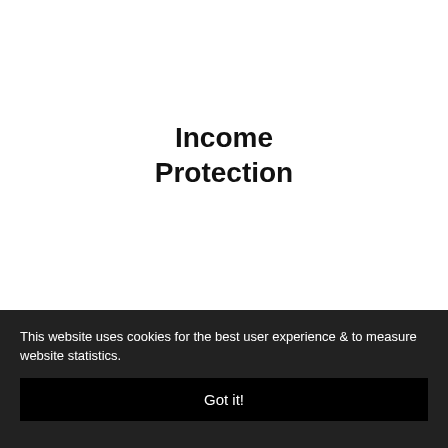Income Protection
This website uses cookies for the best user experience & to measure website statistics.
Got it!